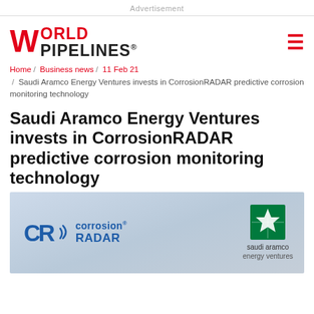Advertisement
WORLD PIPELINES
Home / Business news / 11 Feb 21 / Saudi Aramco Energy Ventures invests in CorrosionRADAR predictive corrosion monitoring technology
Saudi Aramco Energy Ventures invests in CorrosionRADAR predictive corrosion monitoring technology
[Figure (photo): CorrosionRADAR and Saudi Aramco Energy Ventures logos side by side on a light blue/grey background]